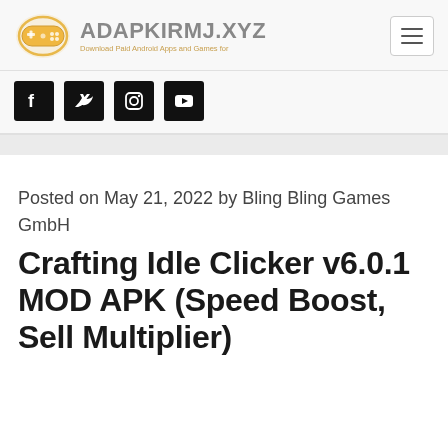ADAPKIRMJ.XYZ — Download Paid Android Apps and Games for
[Figure (logo): Game controller icon logo in orange/gold color]
[Figure (infographic): Social media icons: Facebook, Twitter, Instagram, YouTube — black square buttons]
Posted on May 21, 2022 by Bling Bling Games GmbH
Crafting Idle Clicker v6.0.1 MOD APK (Speed Boost, Sell Multiplier)